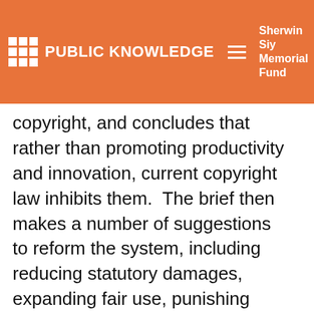PUBLIC KNOWLEDGE | Sherwin Siy Memorial Fund | Donate
copyright, and concludes that rather than promoting productivity and innovation, current copyright law inhibits them.  The brief then makes a number of suggestions to reform the system, including reducing statutory damages, expanding fair use, punishing copyright abuse and shortening copyright terms significantly.
Those of us who for well over a decade have been pushing to have anyone beyond a handful of legislators